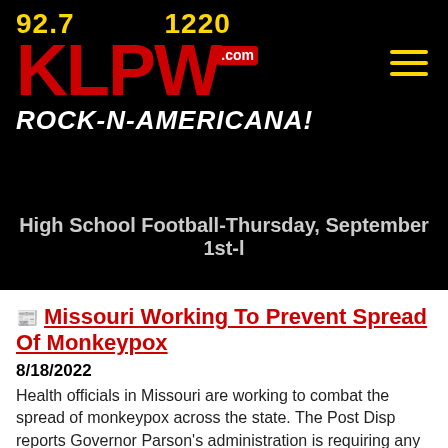[Figure (logo): KLPW Radio station logo with frequencies 92.7 and 1220, red KLPW.com text, tagline ROCK-N-AMERICANA! on black background]
High School Football-Thursday, September 1st-l
Missouri Working To Prevent Spread Of Monkeypox
8/18/2022
Health officials in Missouri are working to combat the spread of monkeypox across the state. The Post Disp reports Governor Parson's administration is requiring any cases of monkeypox be reported to state or local
...More